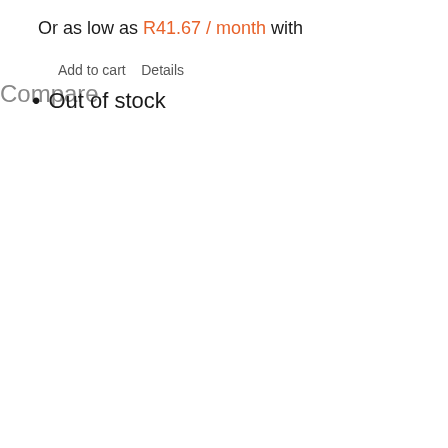Or as low as R41.67 / month with
Add to cart    Details
Compare
Out of stock